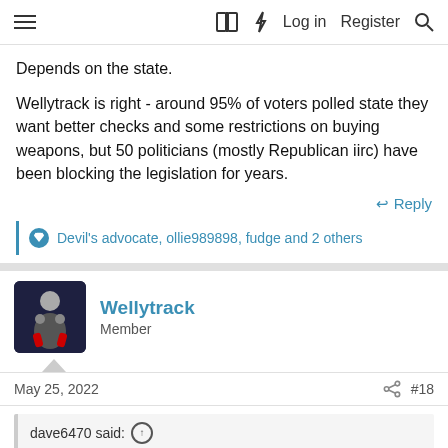≡  [book icon] [lightning icon] Log in  Register [search icon]
Depends on the state.

Wellytrack is right - around 95% of voters polled state they want better checks and some restrictions on buying weapons, but 50 politicians (mostly Republican iirc) have been blocking the legislation for years.
↩ Reply
👍 Devil's advocate, ollie989898, fudge and 2 others
Wellytrack
Member
May 25, 2022   #18
dave6470 said: ↑